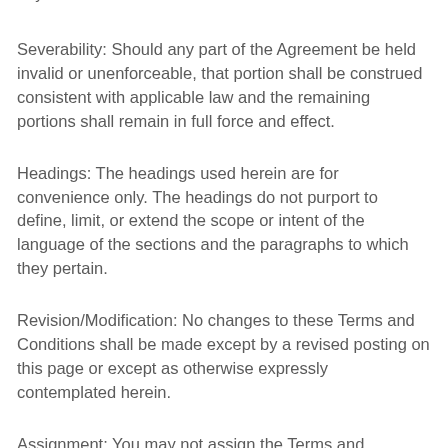to your use of the Website.
Severability: Should any part of the Agreement be held invalid or unenforceable, that portion shall be construed consistent with applicable law and the remaining portions shall remain in full force and effect.
Headings: The headings used herein are for convenience only. The headings do not purport to define, limit, or extend the scope or intent of the language of the sections and the paragraphs to which they pertain.
Revision/Modification: No changes to these Terms and Conditions shall be made except by a revised posting on this page or except as otherwise expressly contemplated herein.
Assignment: You may not assign the Terms and Conditions without our prior written consent, which we may refuse in our sole discretion. We